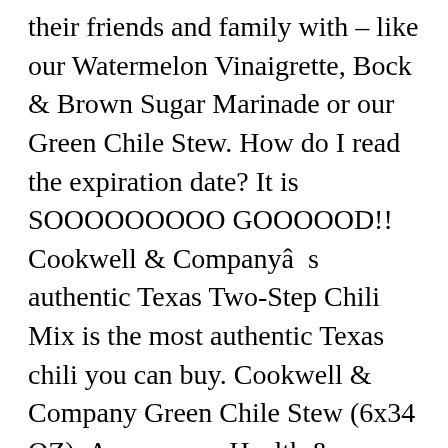their friends and family with – like our Watermelon Vinaigrette, Bock & Brown Sugar Marinade or our Green Chile Stew. How do I read the expiration date? It is SOOOOOOOOO GOOOOOD!! Cookwell & Companyâs authentic Texas Two-Step Chili Mix is the most authentic Texas chili you can buy. Cookwell & Company Green Chile Stew (6x34 OZ): Amazon.ca: Health & Personal Care. Cookwell. We sell all of our products here on our website and ship anywhere in the United States. Account â¦ Eat well. Click here to view our food philosophy and to learn about our products and commitments. FILTRON water filter and mineral infuser is a unique product developed by COOKWELL. Use Cookwell for